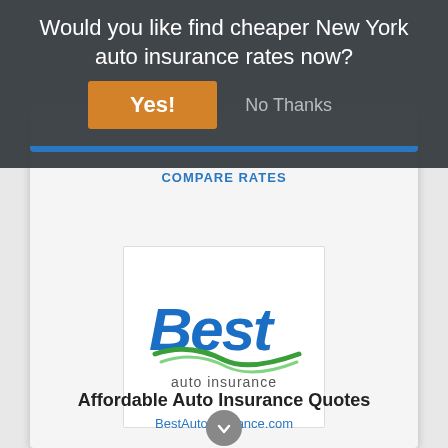Would you like find cheaper New York auto insurance rates now?
Yes!
No Thanks
COMPARE RATES
[Figure (logo): Best Auto Insurance logo with blue italic 'Best' text, green swoosh road graphic, and 'auto insurance' subtitle]
Affordable Auto Insurance Quotes
BestAutoInsurance.com